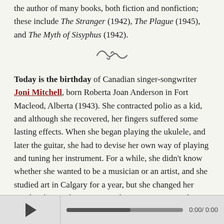the author of many books, both fiction and nonfiction; these include The Stranger (1942), The Plague (1945), and The Myth of Sisyphus (1942).
[Figure (illustration): Decorative swirl/flourish divider]
Today is the birthday of Canadian singer-songwriter Joni Mitchell, born Roberta Joan Anderson in Fort Macleod, Alberta (1943). She contracted polio as a kid, and although she recovered, her fingers suffered some lasting effects. When she began playing the ukulele, and later the guitar, she had to devise her own way of playing and tuning her instrument. For a while, she didn't know whether she wanted to be a musician or an artist, and she studied art in Calgary for a year, but she changed her mind and moved to Toronto to become a singer and a songwriter.
[Figure (screenshot): Audio player bar with play button, progress bar showing 0:00/0:00]